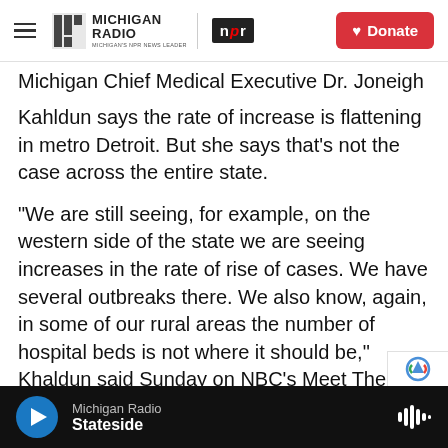Michigan Radio | NPR | Donate
Michigan Chief Medical Executive Dr. Joneigh Kahldun says the rate of increase is flattening in metro Detroit. But she says that’s not the case across the entire state.
“We are still seeing, for example, on the western side of the state we are seeing increases in the rate of rise of cases. We have several outbreaks there. We also know, again, in some of our rural areas the number of hospital beds is not where it should be,” Khaldun said Sunday on NBC’s Meet The Press.
Dr. Khaldun says many rural hospitals are already at capacity.
Michigan Radio | Stateside